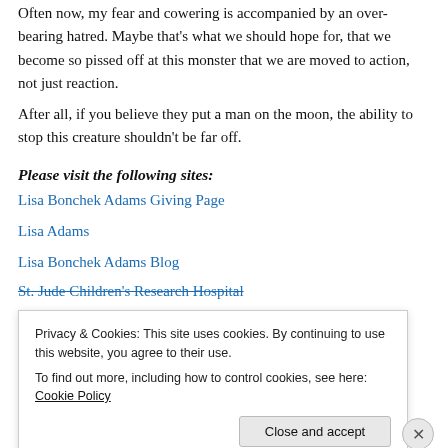Often now, my fear and cowering is accompanied by an over-bearing hatred. Maybe that's what we should hope for, that we become so pissed off at this monster that we are moved to action, not just reaction.
After all, if you believe they put a man on the moon, the ability to stop this creature shouldn't be far off.
Please visit the following sites:
Lisa Bonchek Adams Giving Page
Lisa Adams
Lisa Bonchek Adams Blog
St. Jude Children's Research Hospital
Privacy & Cookies: This site uses cookies. By continuing to use this website, you agree to their use.
To find out more, including how to control cookies, see here: Cookie Policy